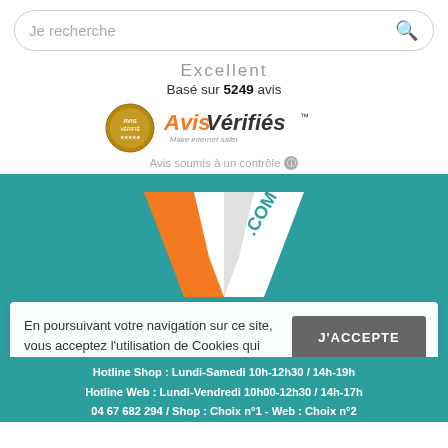Je recherche
Excellent
Basé sur 5249 avis
[Figure (logo): Avis Vérifiés logo with badge and text 'Make internet safer' and 'Avis soumis à un contrôle']
[Figure (logo): V.COM logo in orange and white on teal background]
En poursuivant votre navigation sur ce site, vous acceptez l'utilisation de Cookies qui garantissent son bon fonctionnement.  Plus d'infos
J'ACCEPTE
Hotline Shop : Lundi-Samedi 10h-12h30 / 14h-19h
Hotline Web : Lundi-Vendredi 10h00-12h30 / 14h-17h
04 67 682 294 / Shop : Choix n°1 - Web : Choix n°2